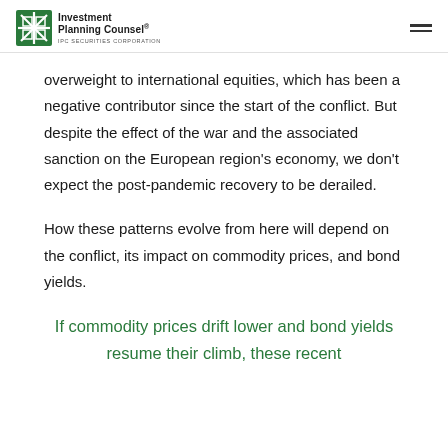Investment Planning Counsel® IPC SECURITIES CORPORATION
overweight to international equities, which has been a negative contributor since the start of the conflict. But despite the effect of the war and the associated sanction on the European region's economy, we don't expect the post-pandemic recovery to be derailed.
How these patterns evolve from here will depend on the conflict, its impact on commodity prices, and bond yields.
If commodity prices drift lower and bond yields resume their climb, these recent